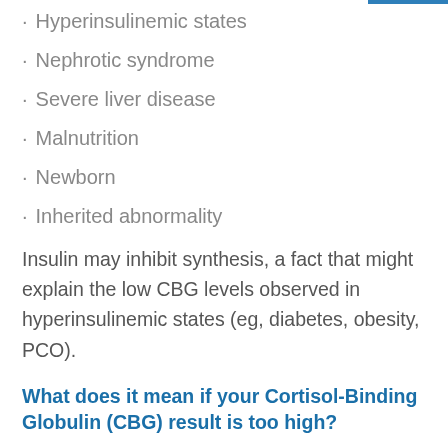Hyperinsulinemic states
Nephrotic syndrome
Severe liver disease
Malnutrition
Newborn
Inherited abnormality
Insulin may inhibit synthesis, a fact that might explain the low CBG levels observed in hyperinsulinemic states (eg, diabetes, obesity, PCO).
What does it mean if your Cortisol-Binding Globulin (CBG) result is too high?